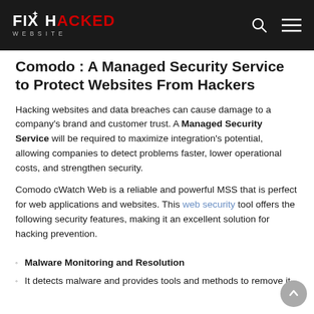Fix Hacked Website — navigation bar with logo, search icon, and menu icon
Comodo : A Managed Security Service to Protect Websites From Hackers
Hacking websites and data breaches can cause damage to a company's brand and customer trust. A Managed Security Service will be required to maximize integration's potential, allowing companies to detect problems faster, lower operational costs, and strengthen security.
Comodo cWatch Web is a reliable and powerful MSS that is perfect for web applications and websites. This web security tool offers the following security features, making it an excellent solution for hacking prevention.
Malware Monitoring and Resolution
It detects malware and provides tools and methods to remove it.